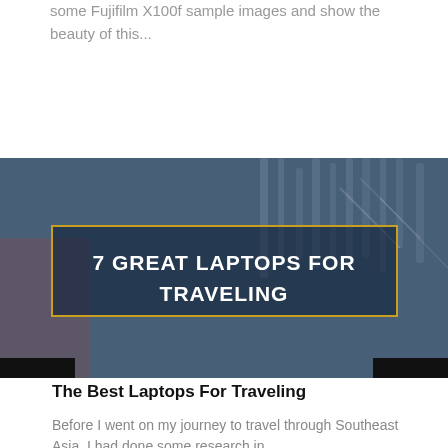some Fujifilm X100f sample images and show the beauty of this...
Read more
[Figure (photo): Dark blue-tinted photo of a laptop keyboard with hands, overlaid with text in a gold border reading '7 Great Laptops for Traveling']
The Best Laptops For Traveling
Before I went on my journey to travel through Southeast Asia, I had done some research in...